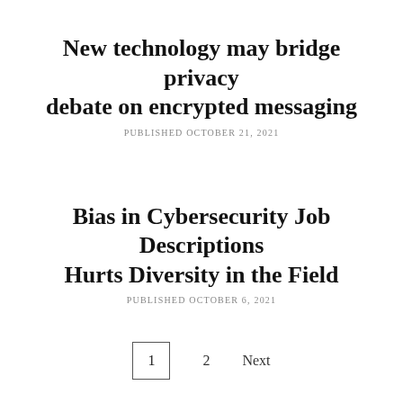New technology may bridge privacy debate on encrypted messaging
PUBLISHED OCTOBER 21, 2021
Bias in Cybersecurity Job Descriptions Hurts Diversity in the Field
PUBLISHED OCTOBER 6, 2021
1  2  Next